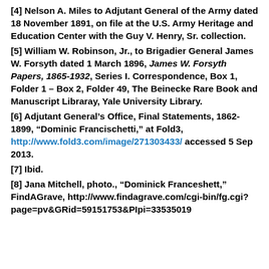[4] Nelson A. Miles to Adjutant General of the Army dated 18 November 1891, on file at the U.S. Army Heritage and Education Center with the Guy V. Henry, Sr. collection.
[5] William W. Robinson, Jr., to Brigadier General James W. Forsyth dated 1 March 1896, James W. Forsyth Papers, 1865-1932, Series I. Correspondence, Box 1, Folder 1 – Box 2, Folder 49, The Beinecke Rare Book and Manuscript Libraray, Yale University Library.
[6] Adjutant General's Office, Final Statements, 1862-1899, "Dominic Francischetti," at Fold3, http://www.fold3.com/image/271303433/ accessed 5 Sep 2013.
[7] Ibid.
[8] Jana Mitchell, photo., "Dominick Franceshett," FindAGrave, http://www.findagrave.com/cgi-bin/fg.cgi?page=pv&GRid=59151753&PIpi=33535019